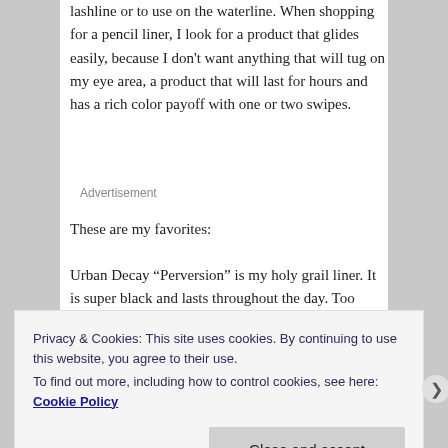lashline or to use on the waterline. When shopping for a pencil liner, I look for a product that glides easily, because I don't want anything that will tug on my eye area, a product that will last for hours and has a rich color payoff with one or two swipes.
Advertisement
These are my favorites:
Urban Decay “Perversion” is my holy grail liner. It is super black and lasts throughout the day. Too Faced Perfect Eye
Privacy & Cookies: This site uses cookies. By continuing to use this website, you agree to their use.
To find out more, including how to control cookies, see here: Cookie Policy
Close and accept